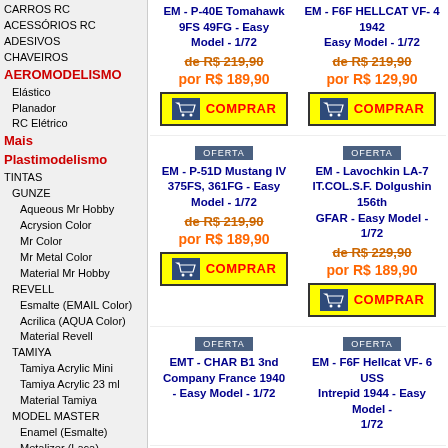CARROS RC
ACESSÓRIOS RC
ADESIVOS
CHAVEIROS
AEROMODELISMO
Elástico
Planador
RC Elétrico
Mais Plastimodelismo
TINTAS
GUNZE
Aqueous Mr Hobby
Acrysion Color
Mr Color
Mr Metal Color
Material Mr Hobby
REVELL
Esmalte (EMAIL Color)
Acrilica (AQUA Color)
Material Revell
TAMIYA
Tamiya Acrylic Mini
Tamiya Acrylic 23 ml
Material Tamiya
MODEL MASTER
Enamel (Esmalte)
Metalizer (Laca)
Acryl (Acrílica)
TESTORS
HUMBROL
Acrilicas (Acrylic)
Esmalte (Enamel)
Weathering Powder
Material Humbrol
HOBBY CORES
Brilhantes
EM - P-40E Tomahawk 9FS 49FG - Easy Model - 1/72
de R$ 219,90
por R$ 189,90
COMPRAR
EM - F6F HELLCAT VF- 4 1942 Easy Model - 1/72
de R$ 219,90
por R$ 129,90
COMPRAR
OFERTA
EM - P-51D Mustang IV 375FS, 361FG - Easy Model - 1/72
de R$ 219,90
por R$ 189,90
COMPRAR
OFERTA
EM - Lavochkin LA-7 IT.COL.S.F. Dolgushin 156th GFAR - Easy Model - 1/72
de R$ 229,90
por R$ 189,90
COMPRAR
OFERTA
EMT - CHAR B1 3nd Company France 1940 - Easy Model - 1/72
OFERTA
EM - F6F Hellcat VF- 6 USS Intrepid 1944 - Easy Model - 1/72